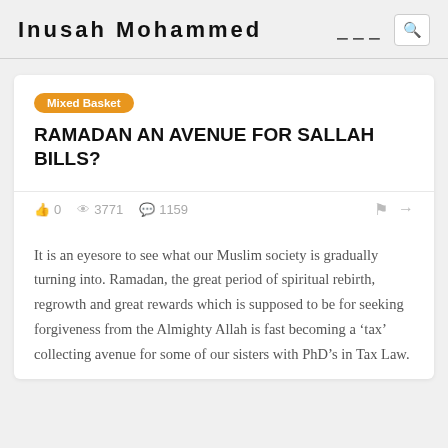Inusah Mohammed
Mixed Basket
RAMADAN AN AVENUE FOR SALLAH BILLS?
0  3771  1159
It is an eyesore to see what our Muslim society is gradually turning into. Ramadan, the great period of spiritual rebirth, regrowth and great rewards which is supposed to be for seeking forgiveness from the Almighty Allah is fast becoming a ‘tax’ collecting avenue for some of our sisters with PhD’s in Tax Law.